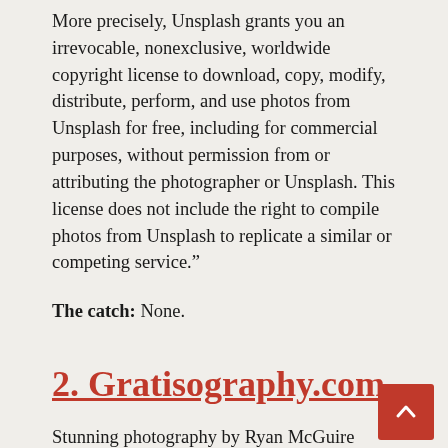More precisely, Unsplash grants you an irrevocable, nonexclusive, worldwide copyright license to download, copy, modify, distribute, perform, and use photos from Unsplash for free, including for commercial purposes, without permission from or attributing the photographer or Unsplash. This license does not include the right to compile photos from Unsplash to replicate a similar or competing service.”
The catch: None.
2. Gratisography.com
Stunning photography by Ryan McGuire offered completely free. He doesn’t even